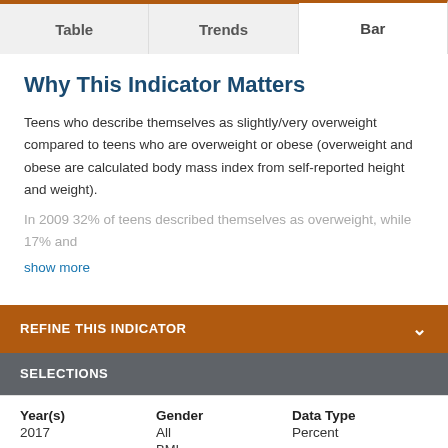Table | Trends | Bar
Why This Indicator Matters
Teens who describe themselves as slightly/very overweight compared to teens who are overweight or obese (overweight and obese are calculated body mass index from self-reported height and weight).
In 2009 32% of teens described themselves as overweight, while 17% and
show more
REFINE THIS INDICATOR
SELECTIONS
| Year(s) | Gender | Data Type |
| --- | --- | --- |
| 2017 | All | Percent |
|  | BMI |  |